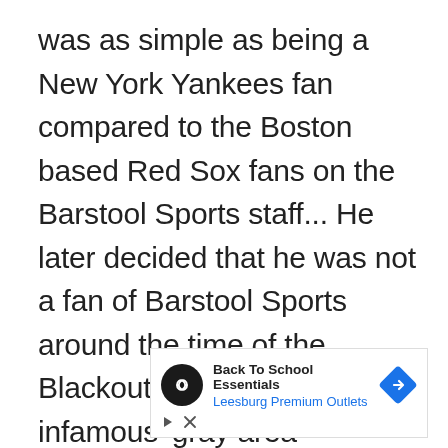was as simple as being a New York Yankees fan compared to the Boston based Red Sox fans on the Barstool Sports staff... He later decided that he was not a fan of Barstool Sports around the time of the Blackout Party series and the infamous 'gray area' comment by Portnoy.
[Figure (other): Advertisement banner for 'Back To School Essentials' by Leesburg Premium Outlets, with a black circular logo showing an infinity-like icon, a blue diamond navigation arrow icon, and small play/close buttons at the bottom.]